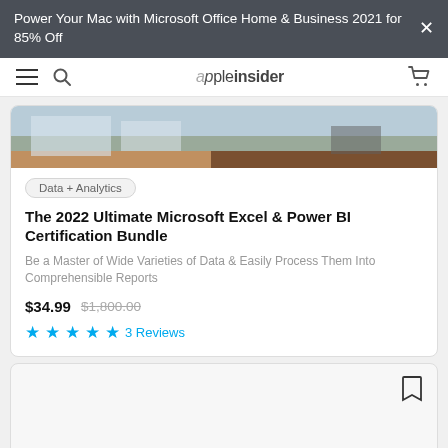Power Your Mac with Microsoft Office Home & Business 2021 for 85% Off
appleinsider navigation bar
[Figure (photo): Partial product image showing a desk scene with documents and a wooden surface]
Data + Analytics
The 2022 Ultimate Microsoft Excel & Power BI Certification Bundle
Be a Master of Wide Varieties of Data & Easily Process Them Into Comprehensible Reports
$34.99  $1,800.00
★★★★★ 3 Reviews